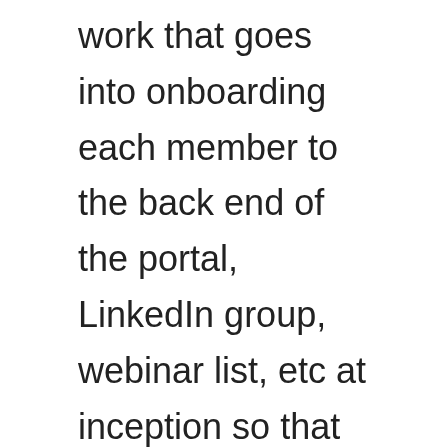work that goes into onboarding each member to the back end of the portal, LinkedIn group, webinar list, etc at inception so that everything runs smoothly. In addition, sometimes the members will require some help navigating the startup and accessing the content. I've created a FAQs document that they can use which addresses most issues, but